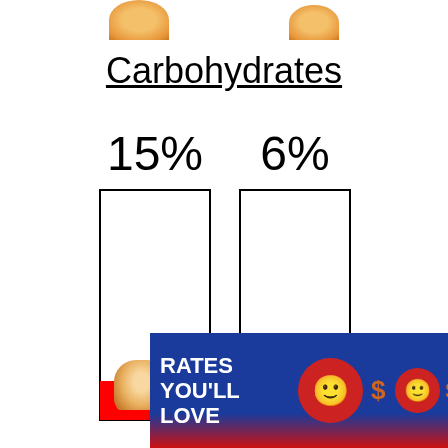Carbohydrates
[Figure (bar-chart): Carbohydrates comparison]
[Figure (infographic): Advertisement banner: RATES YOU'LL LOVE INSURANCE with smiley faces and dollar signs on blue/red background]